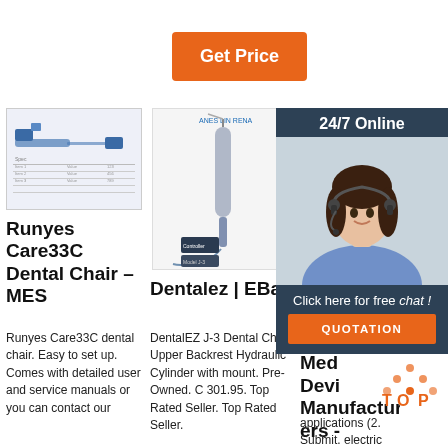Get Price
[Figure (photo): Runyes Care33C dental chair product image with diagram]
[Figure (photo): Dentalez dental chair component image]
[Figure (photo): 24/7 Online customer service agent with headset, overlay panel with chat button and QUOTATION button]
Runyes Care33C Dental Chair – MES
Dentalez | EBay
Dental Chair Medical Device Manufacturers -
Runyes Care33C dental chair. Easy to set up. Comes with detailed user and service manuals or you can contact our
DentalEZ J-3 Dental Chair Upper Backrest Hydraulic Cylinder with mount. Pre-Owned. C 301.95. Top Rated Seller. Top Rated Seller.
applications (2. Submit. electric dental chair Spirit 3300. electric